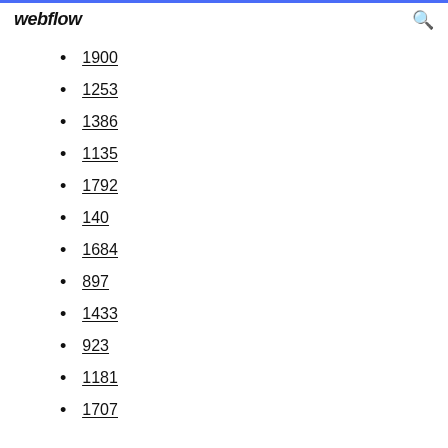webflow
1900
1253
1386
1135
1792
140
1684
897
1433
923
1181
1707